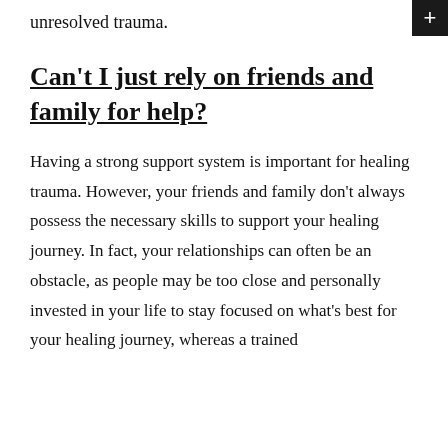unresolved trauma.
Can't I just rely on friends and family for help?
Having a strong support system is important for healing trauma. However, your friends and family don't always possess the necessary skills to support your healing journey. In fact, your relationships can often be an obstacle, as people may be too close and personally invested in your life to stay focused on what's best for your healing journey, whereas a trained